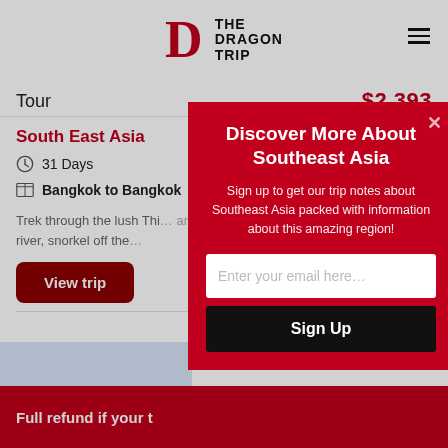THE DRAGON TRIP
Tour   $2,393
South East Asia
31 Days
Bangkok to Bangkok
Trek through the lush Thi... river, snorkel off the...
View trip
Full refund if your t
[Figure (screenshot): Modal popup overlay with red background. Title: 'Discover More About Southeast Asia'. Subtitle: 'Sign up to get our trip notes about Southeast Asia packed with information about this amazing region!'. Email input field with placeholder 'Enter your email here...'. Black 'Sign Up' button.]